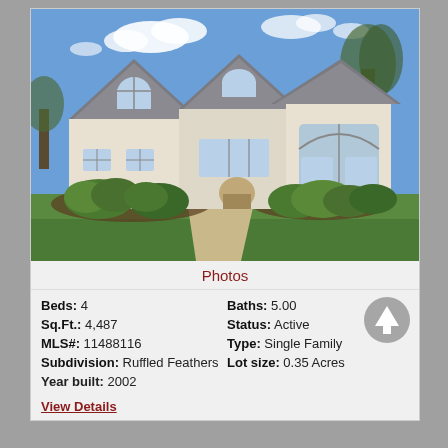[Figure (photo): Exterior photo of a large single-family home with stone and stucco facade, arched windows, dark shingled roof, curved walkway, manicured landscaping with shrubs, green lawn, blue sky with clouds.]
Photos
| Beds: 4 | Baths: 5.00 |
| Sq.Ft.: 4,487 | Status: Active |
| MLS#: 11488116 | Type: Single Family |
| Subdivision: Ruffled Feathers | Lot size: 0.35 Acres |
| Year built: 2002 |  |
View Details